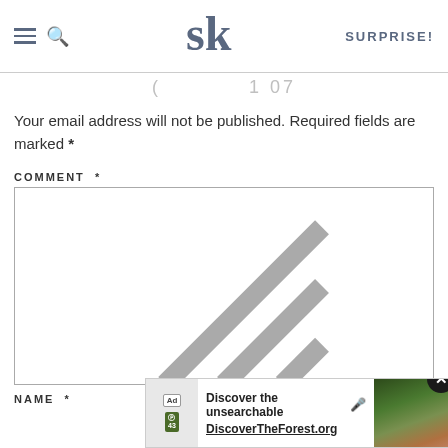SK | SURPRISE!
( 1 07
Your email address will not be published. Required fields are marked *
COMMENT *
[Figure (screenshot): Empty comment text area input box with resize handle]
NAME *
[Figure (screenshot): Ad banner: Discover the unsearchable - DiscoverTheForest.org with forest photo and close button]